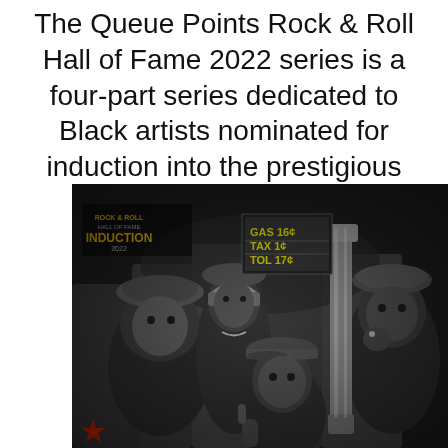The Queue Points Rock & Roll Hall of Fame 2022 series is a four-part series dedicated to Black artists nominated for induction into the prestigious class.
[Figure (photo): Black and white photograph of several young Black men standing together, with a Rock & Roll Hall of Fame Induction 2022 logo overlay in the upper left, and a gas price sign visible in the background showing GAS 16, TAX 1c, TOTAL 17.]